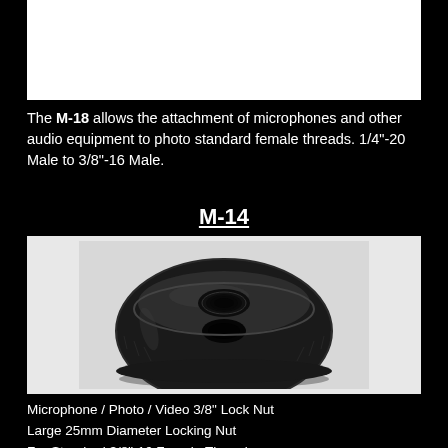[Figure (photo): White/blank top image area (top portion of previous product M-18)]
The M-18 allows the attachment of microphones and other audio equipment to photo standard female threads. 1/4"-20 Male to 3/8"-16 Male.
M-14
[Figure (photo): Photo of M-14 Microphone/Photo/Video 3/8 inch Lock Nut - a large 25mm diameter black knurled locking nut with a threaded center hole, viewed from a slight angle showing the circular flat top and knurled sides]
Microphone / Photo / Video 3/8" Lock Nut
Large 25mm Diameter Locking Nut
For Standard 3/8"-16 Female Threads